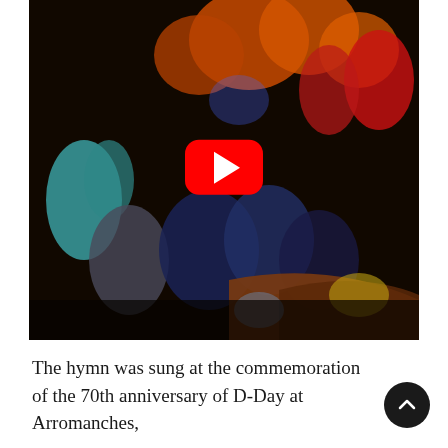[Figure (screenshot): A YouTube video thumbnail showing a blurry scene of people in colorful (orange, red, teal) clothing gathered in what appears to be an indoor venue. A large red YouTube play button icon is centered on the image.]
The hymn was sung at the commemoration of the 70th anniversary of D-Day at Arromanches,